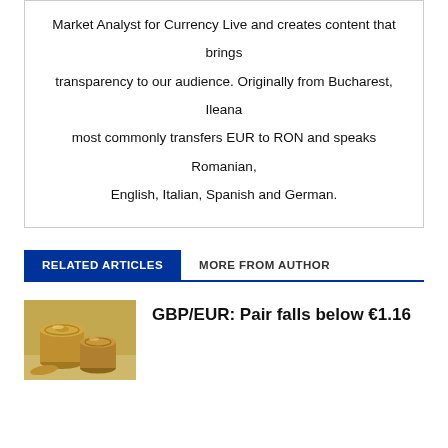Market Analyst for Currency Live and creates content that brings transparency to our audience. Originally from Bucharest, Ileana most commonly transfers EUR to RON and speaks Romanian, English, Italian, Spanish and German.
RELATED ARTICLES   MORE FROM AUTHOR
GBP/EUR: Pair falls below €1.16
[Figure (photo): Gold coins stacked on a surface, illustrating currency/forex article thumbnail]